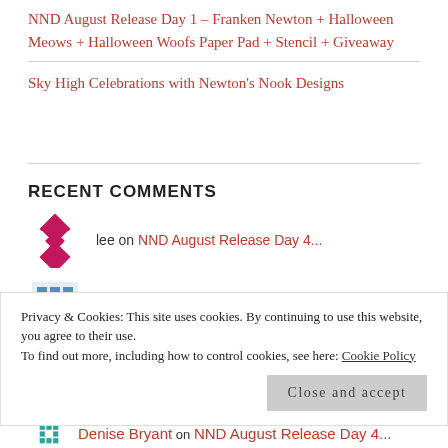NND August Release Day 1 – Franken Newton + Halloween Meows + Halloween Woofs Paper Pad + Stencil + Giveaway
Sky High Celebrations with Newton's Nook Designs
RECENT COMMENTS
lee on NND August Release Day 4...
Sue D on NND August Release Day 4...
Privacy & Cookies: This site uses cookies. By continuing to use this website, you agree to their use. To find out more, including how to control cookies, see here: Cookie Policy
Denise Bryant on NND August Release Day 4...